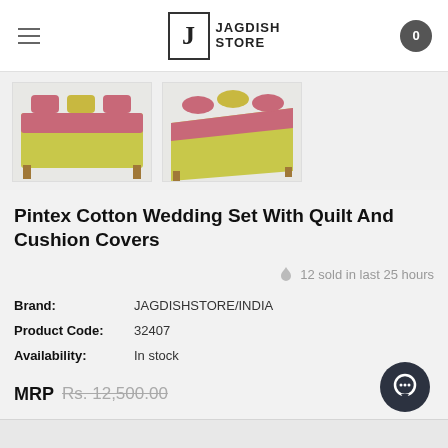Jagdish Store — navigation header with hamburger menu and cart icon
[Figure (photo): Two thumbnail photos of a bed made up with a yellow-green and pink Pintex cotton wedding set with quilt and cushion covers]
Pintex Cotton Wedding Set With Quilt And Cushion Covers
12 sold in last 25 hours
| Brand: | JAGDISHSTORE/INDIA |
| Product Code: | 32407 |
| Availability: | In stock |
MRP Rs. 12,500.00